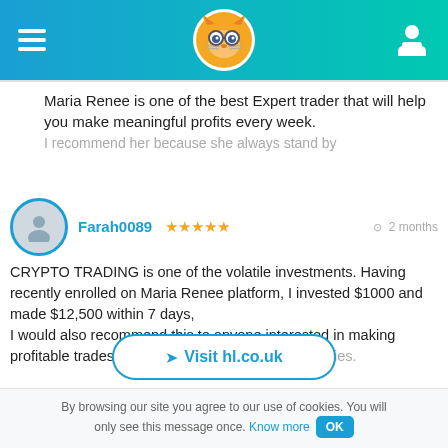[Figure (screenshot): Website header bar with hamburger menu icon on left, fox/cat mascot logo in center circle, and user profile icon on right, on a blue-to-teal gradient background.]
Maria Renee is one of the best Expert trader that will help you make meaningful profits every week. I recommend her because she always stand by
Farah0089 ★★★★★  ⊙ 2 months
CRYPTO TRADING is one of the volatile investments. Having recently enrolled on Maria Renee platform, I invested $1000 and made $12,500 within 7 days,
I would also recommend this to anyone interested in making profitable trades in Bitcoin and other cryptocurrencies.
➤ Visit hl.co.uk
By browsing our site you agree to our use of cookies. You will only see this message once. Know more OK